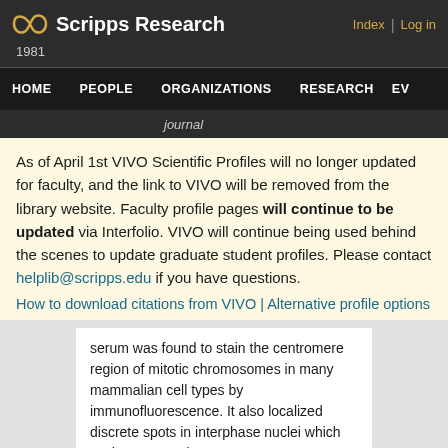Scripps Research | Index | Log in
1981
HOME   PEOPLE   ORGANIZATIONS   RESEARCH   EV
journal
As of April 1st VIVO Scientific Profiles will no longer updated for faculty, and the link to VIVO will be removed from the library website. Faculty profile pages will continue to be updated via Interfolio. VIVO will continue being used behind the scenes to update graduate student profiles. Please contact helplib@scripps.edu if you have questions.
How to download citations from VIVO | Alternative profile options
serum was found to stain the centromere region of mitotic chromosomes in many mammalian cell types by immunofluorescence. It also localized discrete spots in interphase nuclei which we have termed